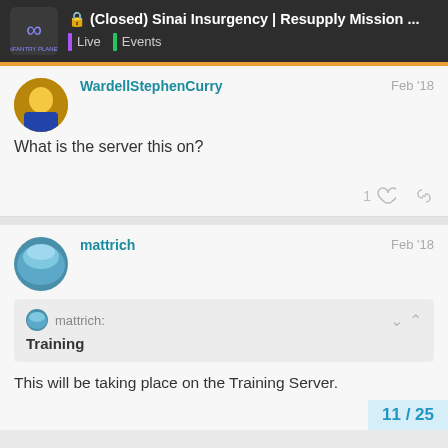(Closed) Sinai Insurgency | Resupply Mission ...
WardellStephenCurry
Feb '18
What is the server this on?
mattrich
Feb '18
mattrich: Training
This will be taking place on the Training Server.
11 / 25